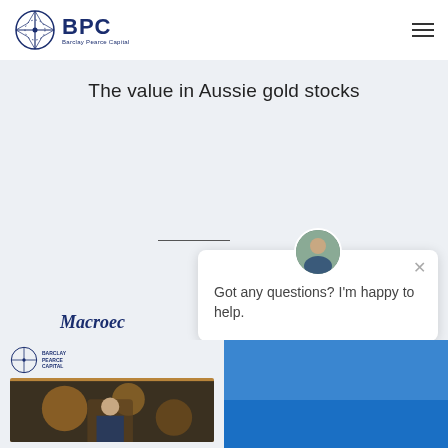[Figure (logo): BPC Barclay Pearce Capital logo with compass/crosshair circle icon and BPC text]
The value in Aussie gold stocks
[Figure (other): Chat widget popup with advisor avatar, close button, and text: Got any questions? I'm happy to help.]
Macroec...
[Figure (other): Bottom strip showing BPC Barclay Pearce Capital logo (small), a thumbnail of a person in a gold-lit setting, and a blue panel on the right side with a chat bubble button]